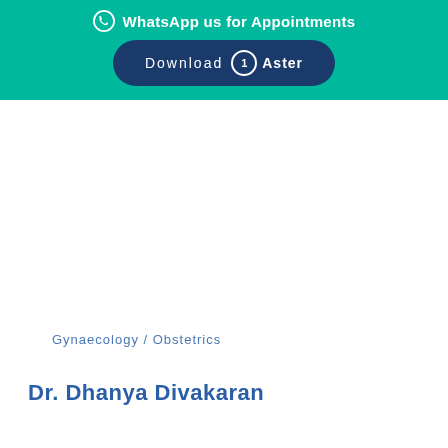WhatsApp us for Appointments
Download Aster
Gynaecology / Obstetrics
Dr. Dhanya Divakaran